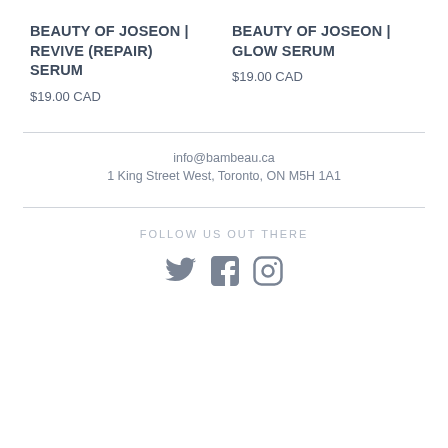BEAUTY OF JOSEON | REVIVE (REPAIR) SERUM
$19.00 CAD
BEAUTY OF JOSEON | GLOW SERUM
$19.00 CAD
info@bambeau.ca
1 King Street West, Toronto, ON M5H 1A1
FOLLOW US OUT THERE
[Figure (illustration): Social media icons: Twitter bird, Facebook F, Instagram camera]